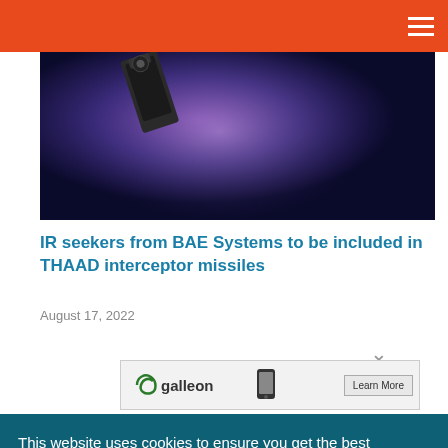[Figure (photo): Dark atmospheric photo showing a sensor or seeker device silhouette against purple/dark blue space-like background with light haze]
IR seekers from BAE Systems to be included in THAAD interceptor missiles
August 17, 2022
[Figure (screenshot): Advertisement banner showing 'galleon' brand logo with swirl graphic and 'Learn More' button, with close X button]
This website uses cookies to ensure you get the best experience on our website.
Learn More
Got it!
At this rate, your mobile phone will soon be